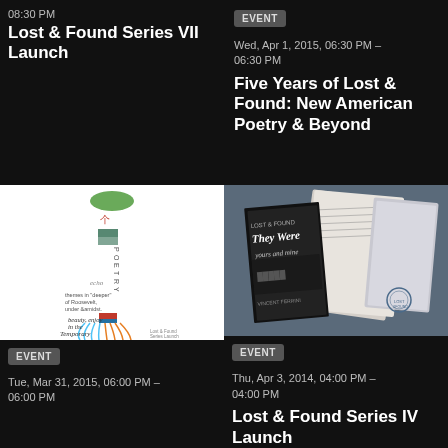08:30 PM
Lost & Found Series VII Launch
[Figure (other): Event badge labeled EVENT]
Wed, Apr 1, 2015, 06:30 PM – 06:30 PM
Five Years of Lost & Found: New American Poetry & Beyond
[Figure (illustration): Book cover illustration with abstract colorful line art and vertically arranged text]
[Figure (photo): Photo of books including 'They Were' poetry book and manuscript pages on dark background]
[Figure (other): Event badge labeled EVENT]
Tue, Mar 31, 2015, 06:00 PM – 06:00 PM
[Figure (other): Event badge labeled EVENT]
Thu, Apr 3, 2014, 04:00 PM – 04:00 PM
Lost & Found Series IV Launch